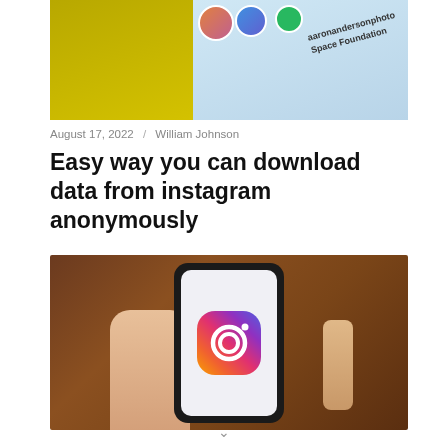[Figure (photo): Top portion of a smartphone showing Instagram interface with profile photos and usernames including 'aaronandersonphoto' and 'Space Foundation', on a gold/blue background]
August 17, 2022 / William Johnson
Easy way you can download data from instagram anonymously
[Figure (photo): A hand holding a black smartphone displaying the Instagram logo app icon on a light screen, against a blurred brown wooden background]